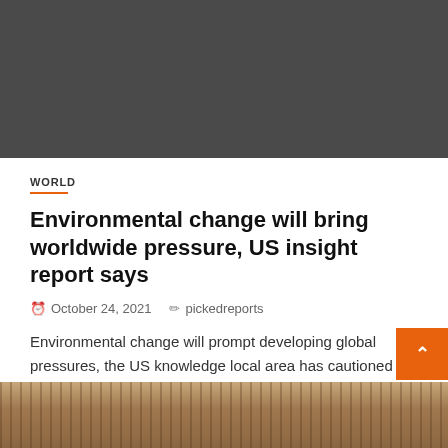[Figure (photo): Dark gray placeholder image at the top of the article]
WORLD
Environmental change will bring worldwide pressure, US insight report says
October 24, 2021   pickedreports
Environmental change will prompt developing global pressures, the US knowledge local area has cautioned in a disheartening evaluation. The very...
[Figure (photo): Partial photo visible at bottom of page, showing warm brown tones, possibly a library or shelves]